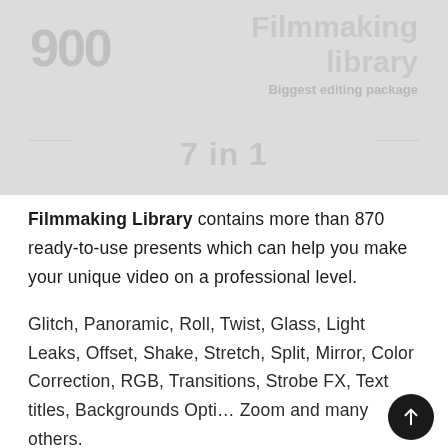[Figure (illustration): A promotional banner image for 'Filmmaking Library' showing large text '900', 'Filmmaking library', 'Biggest editing package', and '7 in 1' on a light gray background.]
Filmmaking Library contains more than 870 ready-to-use presents which can help you make your unique video on a professional level.
Glitch, Panoramic, Roll, Twist, Glass, Light Leaks, Offset, Shake, Stretch, Split, Mirror, Color Correction, RGB, Transitions, Strobe FX, Text titles, Backgrounds Opti… Zoom and many others.